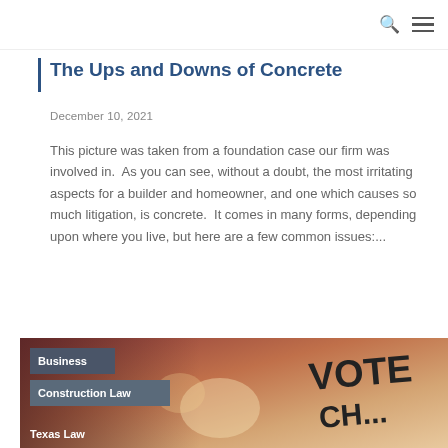The Ups and Downs of Concrete
December 10, 2021
This picture was taken from a foundation case our firm was involved in.  As you can see, without a doubt, the most irritating aspects for a builder and homeowner, and one which causes so much litigation, is concrete.  It comes in many forms, depending upon where you live, but here are a few common issues:...
Read more ▶
[Figure (photo): Photo with vote-related signage; category tags overlay: Business, Construction Law, Texas Law]